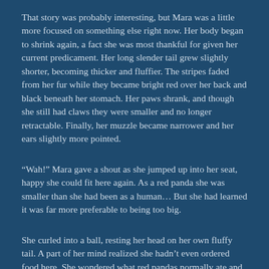That story was probably interesting, but Mara was a little more focused on something else right now. Her body began to shrink again, a fact she was most thankful for given her current predicament. Her long slender tail grew slightly shorter, becoming thicker and fluffier. The stripes faded from her fur while they became bright red over her back and black beneath her stomach. Her paws shrank, and though she still had claws they were smaller and no longer retractable. Finally, her muzzle became narrower and her ears slightly more pointed.
“Wah!” Mara gave a shout as she jumped up into her seat, happy she could fit here again. As a red panda she was smaller than she had been as a human… But she had learned it was far more preferable to being too big.
She curled into a ball, resting her head on her own fluffy tail. A part of her mind realized she hadn’t even ordered food here. She wondered what red pandas normally ate and if they served that, or if she would be changed back before she even got the chance to eat.